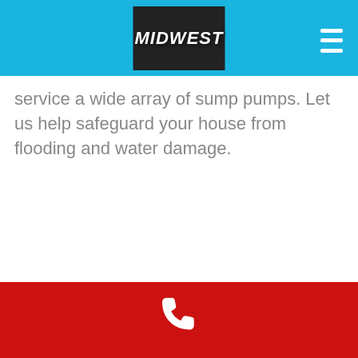[Figure (logo): Midwest logo in dark box on cyan header bar with hamburger menu icon]
service a wide array of sump pumps. Let us help safeguard your house from flooding and water damage.
[Figure (illustration): White phone handset icon on red footer bar]